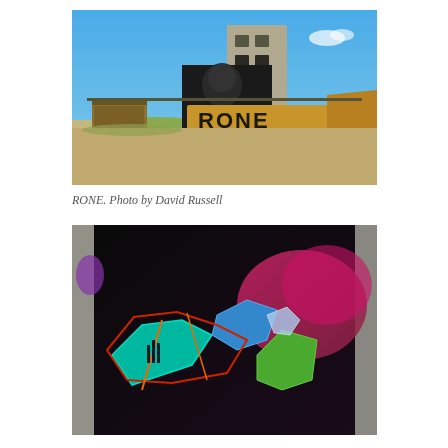[Figure (photo): Outdoor photograph of an abandoned industrial building with a large mural by RONE painted on wooden boards/barriers in front. The word 'RONE' is spelled out in large black letters on plywood panels. The background shows a tall concrete tower building with broken windows. Blue sky with light clouds.]
RONE. Photo by David Russell
[Figure (photo): Close-up photograph of a colorful graffiti mural featuring bold geometric letter forms in teal, green, blue, red and orange against a black background, with pink/magenta spray paint effects visible on the right side. The mural is visible through a concrete doorway or window frame.]